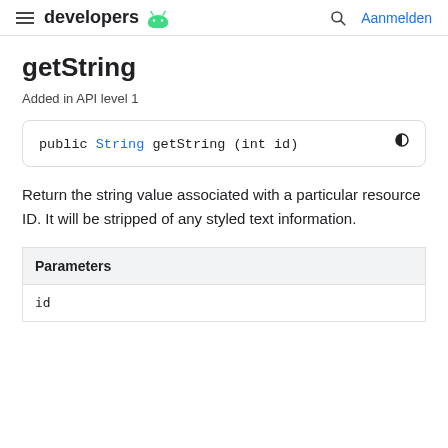≡ developers 🤖  🔍 Aanmelden
getString
Added in API level 1
Return the string value associated with a particular resource ID. It will be stripped of any styled text information.
| Parameters |
| --- |
| id |